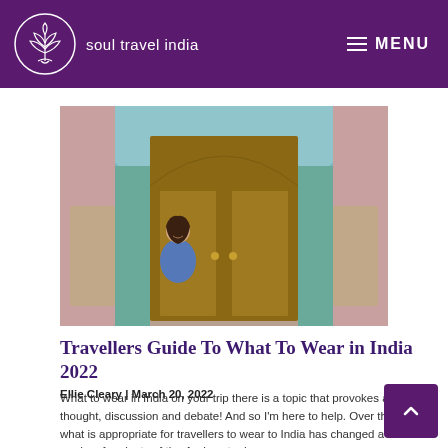soul travel india | MENU
[Figure (photo): Woman in blue top smiling in front of an ornate Indian palace door with colourful peacock-pattern painted walls]
Travellers Guide To What To Wear in India 2022
Ellie Cleary | March 20, 2022
What to wear in India on your trip there is a topic that provokes a lot of thought, discussion and debate! And so I'm here to help. Over the years, what is appropriate for travellers to wear to India has changed a lot – so read on for plenty of tips for how to dress.